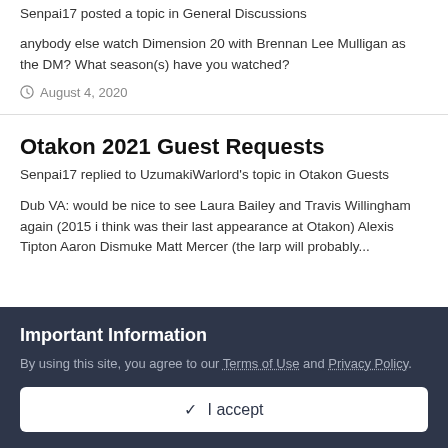Senpai17 posted a topic in General Discussions
anybody else watch Dimension 20 with Brennan Lee Mulligan as the DM? What season(s) have you watched?
August 4, 2020
Otakon 2021 Guest Requests
Senpai17 replied to UzumakiWarlord's topic in Otakon Guests
Dub VA: would be nice to see Laura Bailey and Travis Willingham again (2015 i think was their last appearance at Otakon) Alexis Tipton Aaron Dismuke Matt Mercer (the larp will probably...
Important Information
By using this site, you agree to our Terms of Use and Privacy Policy.
I accept